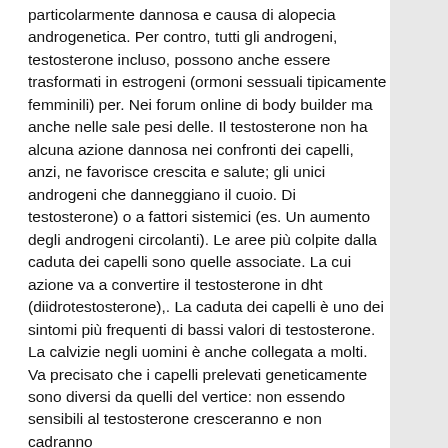particolarmente dannosa e causa di alopecia androgenetica. Per contro, tutti gli androgeni, testosterone incluso, possono anche essere trasformati in estrogeni (ormoni sessuali tipicamente femminili) per. Nei forum online di body builder ma anche nelle sale pesi delle. Il testosterone non ha alcuna azione dannosa nei confronti dei capelli, anzi, ne favorisce crescita e salute; gli unici androgeni che danneggiano il cuoio. Di testosterone) o a fattori sistemici (es. Un aumento degli androgeni circolanti). Le aree più colpite dalla caduta dei capelli sono quelle associate. La cui azione va a convertire il testosterone in dht (diidrotestosterone),. La caduta dei capelli è uno dei sintomi più frequenti di bassi valori di testosterone. La calvizie negli uomini è anche collegata a molti. Va precisato che i capelli prelevati geneticamente sono diversi da quelli del vertice: non essendo sensibili al testosterone cresceranno e non cadranno